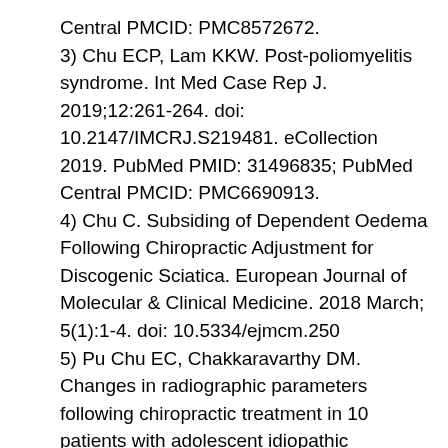Central PMCID: PMC8572672.
3) Chu ECP, Lam KKW. Post-poliomyelitis syndrome. Int Med Case Rep J. 2019;12:261-264. doi: 10.2147/IMCRJ.S219481. eCollection 2019. PubMed PMID: 31496835; PubMed Central PMCID: PMC6690913.
4) Chu C. Subsiding of Dependent Oedema Following Chiropractic Adjustment for Discogenic Sciatica. European Journal of Molecular & Clinical Medicine. 2018 March; 5(1):1-4. doi: 10.5334/ejmcm.250
5) Pu Chu EC, Chakkaravarthy DM. Changes in radiographic parameters following chiropractic treatment in 10 patients with adolescent idiopathic scoliosis: A retrospective chart review. Clin Pract. 2020 Sep 4;10(3):1258. doi: 10.4081/cp.2020.1258. eCollection 2020 Sep 4.
6) Pu Chu EC, Kai Huang KH. Bridging the gap between observation and brace treatment for adolescent idiopathic scoliosis. J Family Med Prim